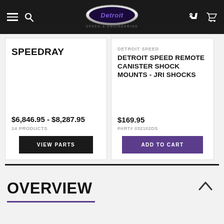[Figure (logo): Detroit Speed & Engineering logo — purple script lettering in a chrome oval with 'SPEED & ENGINEERING' beneath]
SPEEDRAY
$6,846.95 - $8,287.95
14 PRODUCTS
VIEW PARTS
DETROIT SPEED
DETROIT SPEED REMOTE CANISTER SHOCK MOUNTS - JRI SHOCKS
$169.95
PART# 032102DS
ADD TO CART
OVERVIEW